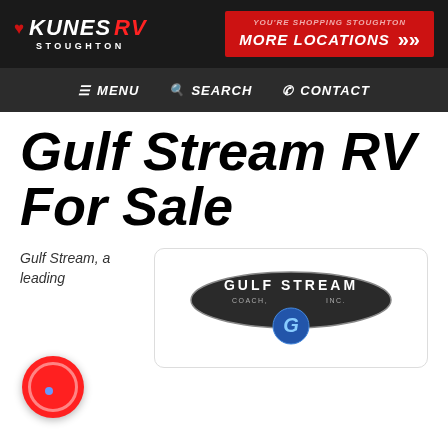Kunes RV Stoughton — YOU'RE SHOPPING STOUGHTON MORE LOCATIONS
MENU  SEARCH  CONTACT
Gulf Stream RV For Sale
Gulf Stream, a leading
[Figure (logo): Gulf Stream Coach, Inc. oval logo with blue G emblem]